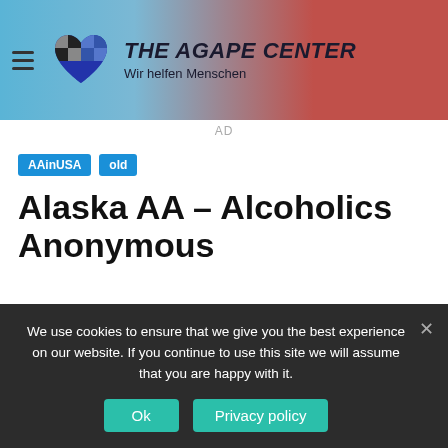THE AGAPE CENTER — Wir helfen Menschen
AD
AAinUSA
old
Alaska AA – Alcoholics Anonymous
Jeremy Stumpf   Last Updated: September 24, 2020   🔖 7 minutes read
We use cookies to ensure that we give you the best experience on our website. If you continue to use this site we will assume that you are happy with it. Ok  Privacy policy